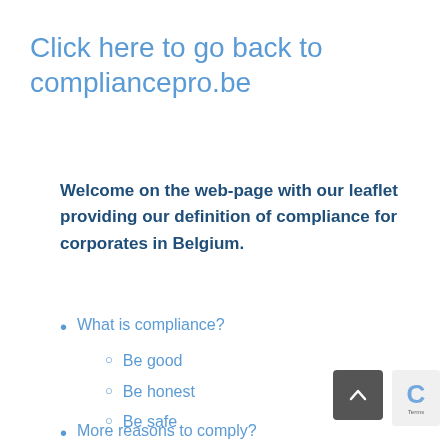Click here to go back to compliancepro.be
Welcome on the web-page with our leaflet providing our definition of compliance for corporates in Belgium.
What is compliance?
Be good
Be honest
Be safe
More reasons to comply?